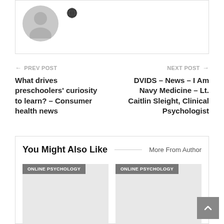[Figure (illustration): Gray avatar/profile placeholder silhouette with a globe icon to the right]
← PREV POST
What drives preschoolers' curiosity to learn? – Consumer health news
NEXT POST →
DVIDS – News – I Am Navy Medicine – Lt. Caitlin Sleight, Clinical Psychologist
You Might Also Like
More From Author
[Figure (screenshot): Article thumbnail placeholder with ONLINE PSYCHOLOGY tag label]
[Figure (screenshot): Article thumbnail placeholder with ONLINE PSYCHOLOGY tag label]